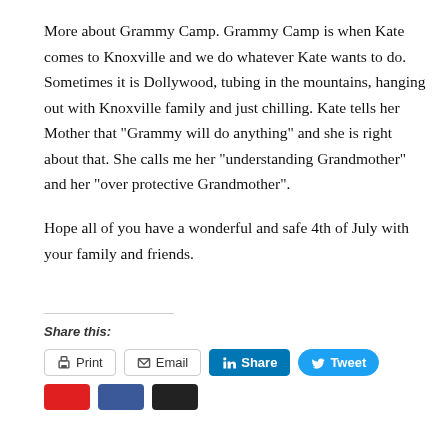More about Grammy Camp. Grammy Camp is when Kate comes to Knoxville and we do whatever Kate wants to do. Sometimes it is Dollywood, tubing in the mountains, hanging out with Knoxville family and just chilling. Kate tells her Mother that “Grammy will do anything” and she is right about that. She calls me her “understanding Grandmother” and her “over protective Grandmother”.

Hope all of you have a wonderful and safe 4th of July with your family and friends.
Share this:
[Figure (other): Share buttons row: Print, Email, LinkedIn Share, Twitter Tweet buttons, and partial row below with red, blue, dark buttons]